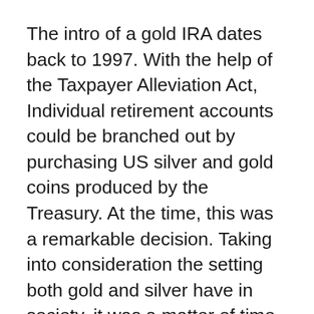The intro of a gold IRA dates back to 1997. With the help of the Taxpayer Alleviation Act, Individual retirement accounts could be branched out by purchasing US silver and gold coins produced by the Treasury. At the time, this was a remarkable decision. Taking into consideration the setting both gold and silver have in society, it was a matter of time until such an automobile would certainly be introduced.
Since 1998, the policies kicked back a little bit. It is just as possible to buy platinum coins and specific gold, silver, and platinum bullion. Branching out one’s portfolio is essential throughout times of monetary unpredictability. Given that 1998, there has